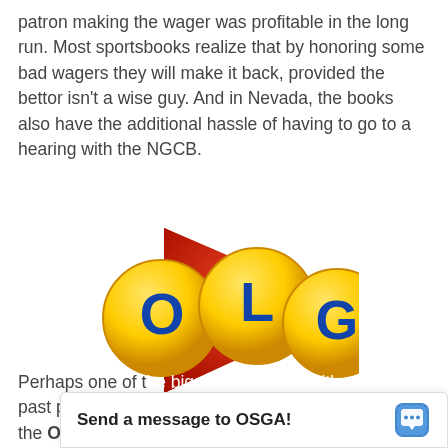patron making the wager was profitable in the long run. Most sportsbooks realize that by honoring some bad wagers they will make it back, provided the bettor isn't a wise guy. And in Nevada, the books also have the additional hassle of having to go to a hearing with the NGCB.
[Figure (logo): OLG (Ontario Lottery and Gaming Corporation) logo: three yellow spheres with blue letters O, L, G overlaid on a red triangle pointing right]
Perhaps one of the biggest problems with past posting oc... the Ontario Lo...
Send a message to OSGA!